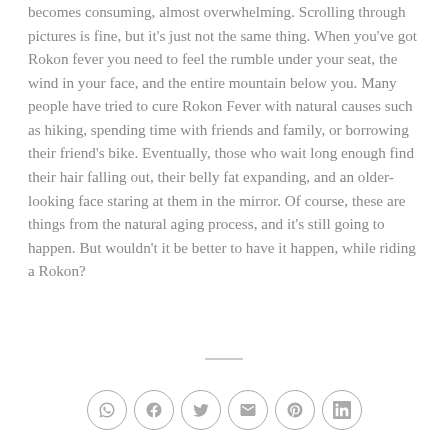becomes consuming, almost overwhelming. Scrolling through pictures is fine, but it's just not the same thing. When you've got Rokon fever you need to feel the rumble under your seat, the wind in your face, and the entire mountain below you. Many people have tried to cure Rokon Fever with natural causes such as hiking, spending time with friends and family, or borrowing their friend's bike. Eventually, those who wait long enough find their hair falling out, their belly fat expanding, and an older-looking face staring at them in the mirror. Of course, these are things from the natural aging process, and it's still going to happen. But wouldn't it be better to have it happen, while riding a Rokon?
[Figure (infographic): Social share icons: WhatsApp, Facebook, Twitter, Email, Pinterest, LinkedIn — each in a circle outline]